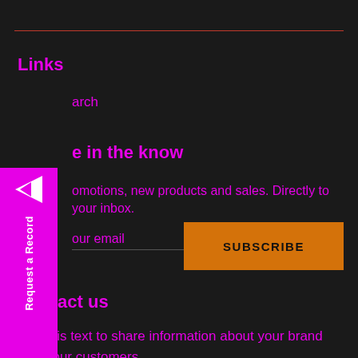Links
Search
e in the know
omotions, new products and sales. Directly to your inbox.
our email
SUBSCRIBE
Contact us
Use this text to share information about your brand with your customers.